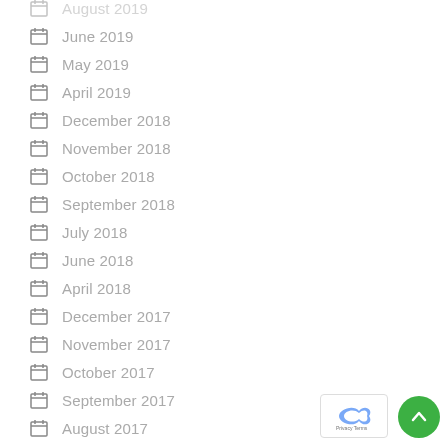June 2019
May 2019
April 2019
December 2018
November 2018
October 2018
September 2018
July 2018
June 2018
April 2018
December 2017
November 2017
October 2017
September 2017
August 2017
July 2017
June 2017